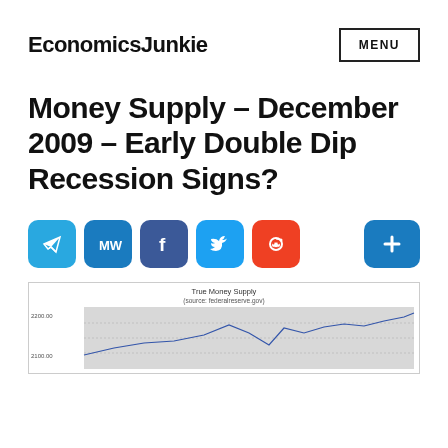EconomicsJunkie
Money Supply – December 2009 – Early Double Dip Recession Signs?
[Figure (screenshot): Social sharing buttons: Telegram, MarketWatch, Facebook, Twitter, Reddit, and a plus/more button]
[Figure (continuous-plot): True Money Supply line chart (source: federalreserve.gov), showing values around 2100-2200, with a dip and then rising trend at the right side]